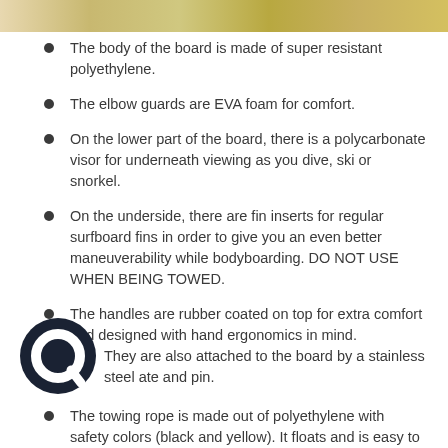[Figure (photo): Partial photo strip at the top of the page showing a bodyboard or water sports equipment scene with yellow and tan colors]
The body of the board is made of super resistant polyethylene.
The elbow guards are EVA foam for comfort.
On the lower part of the board, there is a polycarbonate visor for underneath viewing as you dive, ski or snorkel.
On the underside, there are fin inserts for regular surfboard fins in order to give you an even better maneuverability while bodyboarding. DO NOT USE WHEN BEING TOWED.
The handles are rubber coated on top for extra comfort and designed with hand ergonomics in mind.
[Figure (logo): Circular dark navy logo with a Q-like symbol inside, positioned at bottom left]
They are also attached to the board by a stainless steel ate and pin.
The towing rope is made out of polyethylene with safety colors (black and yellow). It floats and is easy to